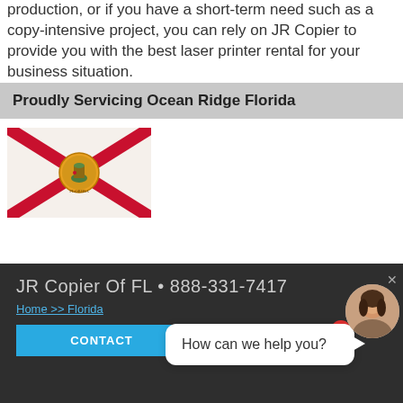production, or if you have a short-term need such as a copy-intensive project, you can rely on JR Copier to provide you with the best laser printer rental for your business situation.
Proudly Servicing Ocean Ridge Florida
[Figure (illustration): Florida state flag — white background with red X diagonal cross and state seal in center]
JR Copier Of FL • 888-331-7417
Home >> Florida
CONTACT
How can we help you?